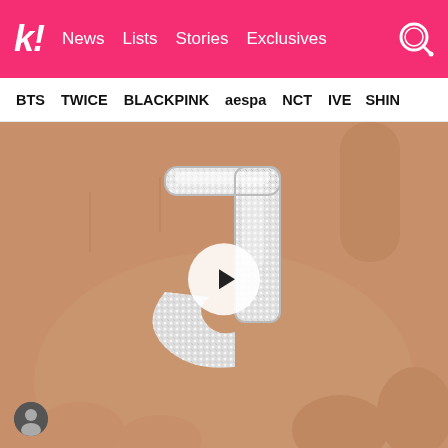k! News Lists Stories Exclusives
BTS TWICE BLACKPINK aespa NCT IVE SHINE
[Figure (photo): Close-up photo of a hand holding a diamond/crystal encrusted letter J charm or pendant, sparkling silver rhinestones. A circular play button overlay is visible in the center of the image. A user avatar icon appears in the bottom left corner.]